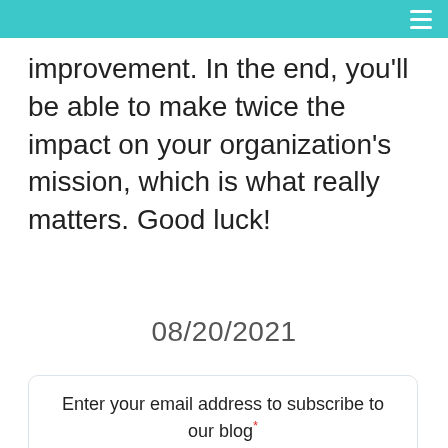improvement. In the end, you'll be able to make twice the impact on your organization's mission, which is what really matters. Good luck!
08/20/2021
Enter your email address to subscribe to our blog*
Subscribe to the Arreva Blog
Subscribe